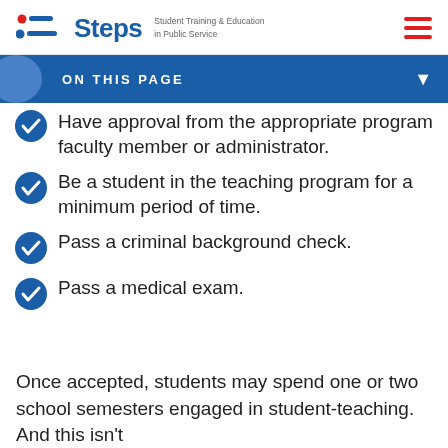Steps — Student Training & Education in Public Service
ON THIS PAGE
Have approval from the appropriate program faculty member or administrator.
Be a student in the teaching program for a minimum period of time.
Pass a criminal background check.
Pass a medical exam.
Once accepted, students may spend one or two school semesters engaged in student-teaching. And this isn't